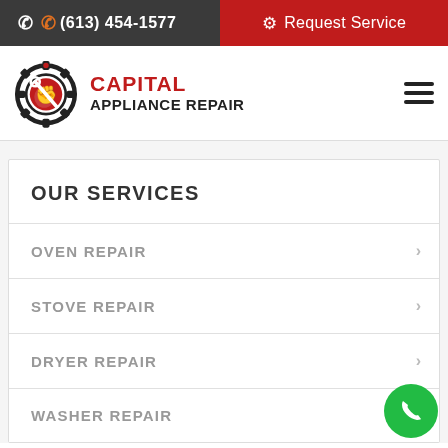(613) 454-1577  Request Service
[Figure (logo): Capital Appliance Repair logo: gear with red fist holding wrench, red CAPITAL text, black APPLIANCE REPAIR text]
OUR SERVICES
OVEN REPAIR
STOVE REPAIR
DRYER REPAIR
WASHER REPAIR